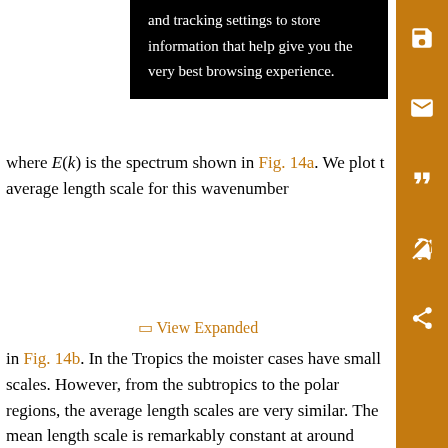and tracking settings to store information that help give you the very best browsing experience.
where E(k) is the spectrum shown in Fig. 14a. We plot the average length scale for this wavenumber
(25)
View Expanded
in Fig. 14b. In the Tropics the moister cases have small scales. However, from the subtropics to the polar regions, the average length scales are very similar. The mean length scale is remarkably constant at around 4000 km over the entire midlatitude and subtropical region for all cases. When averaged over the extratropics, the mean length scale is decreased slightly as the moisture content